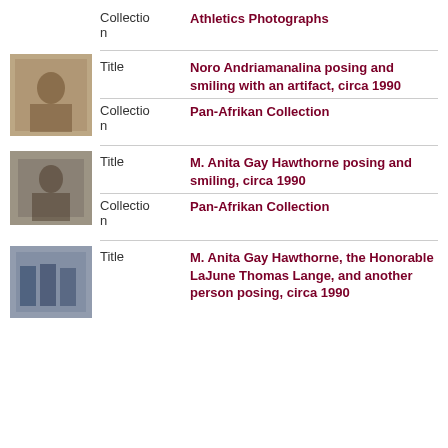Collection: Athletics Photographs
[Figure (photo): Photo of Noro Andriamanalina posing and smiling with an artifact, circa 1990]
Title: Noro Andriamanalina posing and smiling with an artifact, circa 1990
Collection: Pan-Afrikan Collection
[Figure (photo): Photo of M. Anita Gay Hawthorne posing and smiling, circa 1990]
Title: M. Anita Gay Hawthorne posing and smiling, circa 1990
Collection: Pan-Afrikan Collection
[Figure (photo): Photo of M. Anita Gay Hawthorne, the Honorable LaJune Thomas Lange, and another person posing, circa 1990]
Title: M. Anita Gay Hawthorne, the Honorable LaJune Thomas Lange, and another person posing, circa 1990